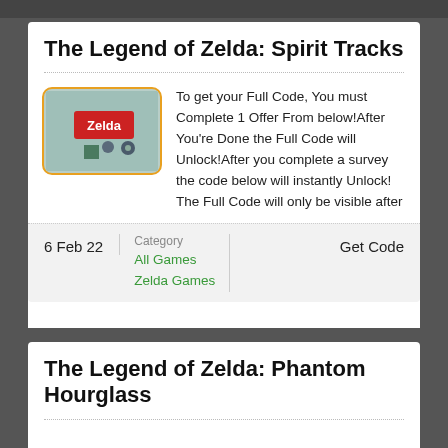The Legend of Zelda: Spirit Tracks
[Figure (photo): Game box art thumbnail for The Legend of Zelda: Spirit Tracks with orange border]
To get your Full Code, You must Complete 1 Offer From below!After You're Done the Full Code will Unlock!After you complete a survey the code below will instantly Unlock! The Full Code will only be visible after
6 Feb 22
Category
All Games
Zelda Games
Get Code
The Legend of Zelda: Phantom Hourglass